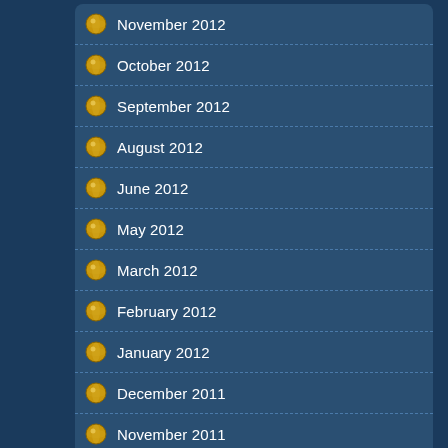November 2012
October 2012
September 2012
August 2012
June 2012
May 2012
March 2012
February 2012
January 2012
December 2011
November 2011
February 201